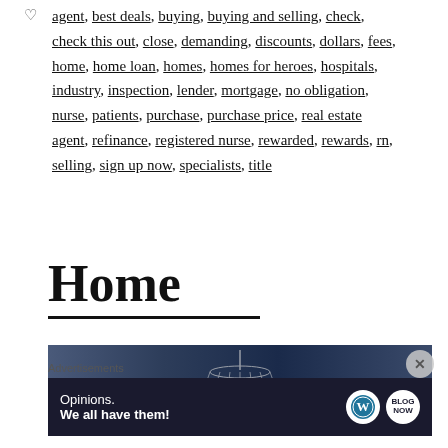agent, best deals, buying, buying and selling, check, check this out, close, demanding, discounts, dollars, fees, home, home loan, homes, homes for heroes, hospitals, industry, inspection, lender, mortgage, no obligation, nurse, patients, purchase, purchase price, real estate agent, refinance, registered nurse, rewarded, rewards, rn, selling, sign up now, specialists, title
Home
[Figure (photo): A dark blue banner image showing a chandelier/light fixture silhouette against a dark navy blue gradient background]
Advertisements
[Figure (advertisement): Dark navy advertisement banner reading 'Opinions. We all have them!' with WordPress and Blog logos on the right]